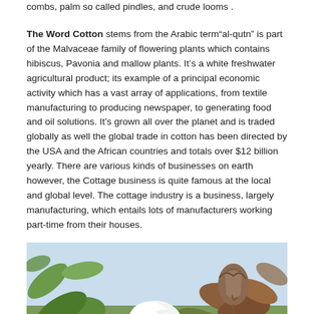combs, palm so called pindles, and crude looms .
The Word Cotton stems from the Arabic term“al-qutn” is part of the Malvaceae family of flowering plants which contains hibiscus, Pavonia and mallow plants. It’s a white freshwater agricultural product; its example of a principal economic activity which has a vast array of applications, from textile manufacturing to producing newspaper, to generating food and oil solutions. It’s grown all over the planet and is traded globally as well the global trade in cotton has been directed by the USA and the African countries and totals over $12 billion yearly. There are various kinds of businesses on earth however, the Cottage business is quite famous at the local and global level. The cottage industry is a business, largely manufacturing, which entails lots of manufacturers working part-time from their houses.
[Figure (photo): Photograph of cotton plant with white cotton bolls and green/brown leaves against a light blue sky background]